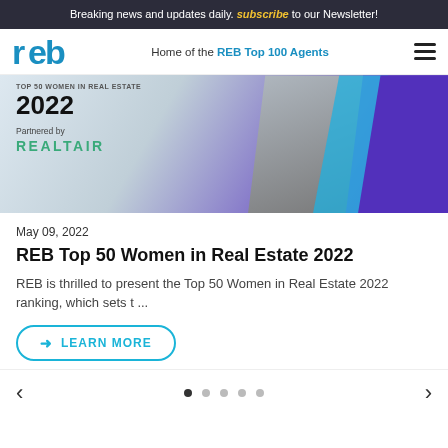Breaking news and updates daily. subscribe to our Newsletter!
reb — Home of the REB Top 100 Agents
[Figure (illustration): Banner image for REB Top 50 Women in Real Estate 2022, partnered by Realtair, with blue and purple geometric shapes and a photo of a person]
May 09, 2022
REB Top 50 Women in Real Estate 2022
REB is thrilled to present the Top 50 Women in Real Estate 2022 ranking, which sets t ...
➜ LEARN MORE